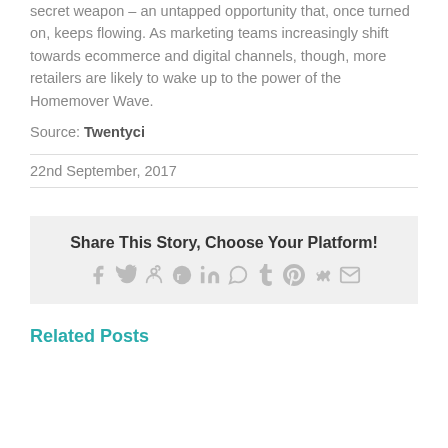secret weapon – an untapped opportunity that, once turned on, keeps flowing. As marketing teams increasingly shift towards ecommerce and digital channels, though, more retailers are likely to wake up to the power of the Homemover Wave.
Source: Twentyci
22nd September, 2017
Share This Story, Choose Your Platform!
Related Posts